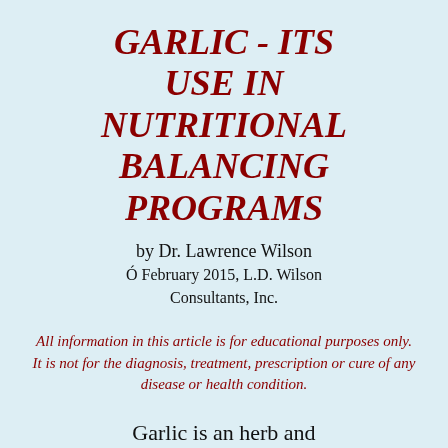GARLIC - ITS USE IN NUTRITIONAL BALANCING PROGRAMS
by Dr. Lawrence Wilson
Ó February 2015, L.D. Wilson Consultants, Inc.
All information in this article is for educational purposes only.  It is not for the diagnosis, treatment, prescription or cure of any disease or health condition.
Garlic is an herb and a food.  It has some